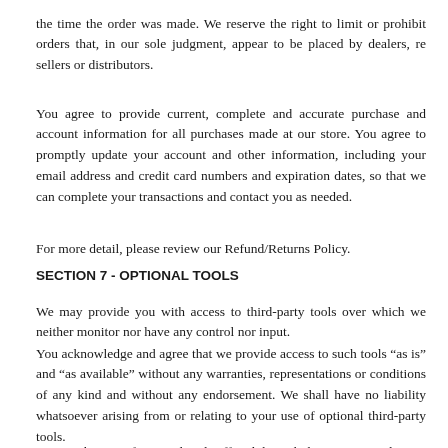the time the order was made. We reserve the right to limit or prohibit orders that, in our sole judgment, appear to be placed by dealers, resellers or distributors.
You agree to provide current, complete and accurate purchase and account information for all purchases made at our store. You agree to promptly update your account and other information, including your email address and credit card numbers and expiration dates, so that we can complete your transactions and contact you as needed.
For more detail, please review our Refund/Returns Policy.
SECTION 7 - OPTIONAL TOOLS
We may provide you with access to third-party tools over which we neither monitor nor have any control nor input.
You acknowledge and agree that we provide access to such tools "as is" and "as available" without any warranties, representations or conditions of any kind and without any endorsement. We shall have no liability whatsoever arising from or relating to your use of optional third-party tools.
Any use by you of optional tools offered through the site is entirely at